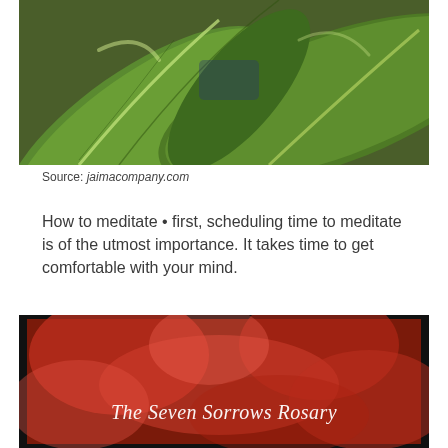[Figure (illustration): Close-up illustration of large tropical green leaves (banana or similar), rendered in a stylized vector art style with light green, dark green, and white highlight tones.]
Source: jaimacompany.com
How to meditate • first, scheduling time to meditate is of the utmost importance. It takes time to get comfortable with your mind.
[Figure (photo): A blurred reddish-brown background image with a black border/frame, featuring the text 'The Seven Sorrows Rosary' in white decorative script font centered in the lower portion of the image.]